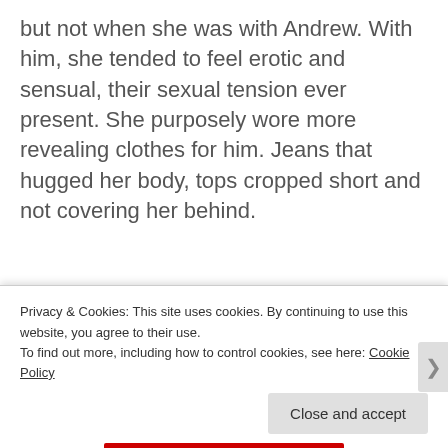but not when she was with Andrew. With him, she tended to feel erotic and sensual, their sexual tension ever present. She purposely wore more revealing clothes for him. Jeans that hugged her body, tops cropped short and not covering her behind.
[Figure (other): WooCommerce advertisement banner: 'How to start selling subscriptions online']
Strange, the effect he had on her, Alexandra
Privacy & Cookies: This site uses cookies. By continuing to use this website, you agree to their use.
To find out more, including how to control cookies, see here: Cookie Policy
Close and accept